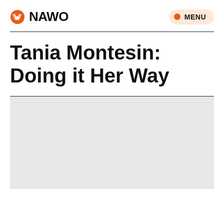NAWO  MENU
Tania Montesin: Doing it Her Way
[Figure (photo): Light grey rectangular image placeholder area]